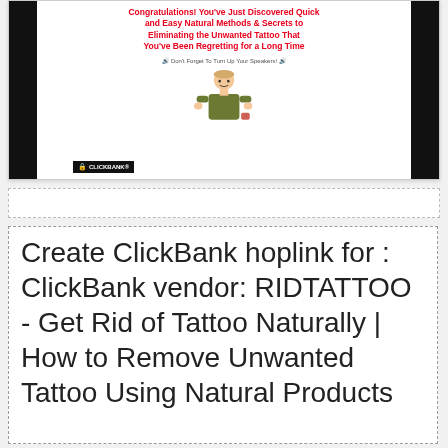[Figure (screenshot): Screenshot of a ClickBank sales page for 'Get Rid of Tattoo Naturally' with red headline text, speaker note, cartoon figure of a person with tattoo, and ClickBank badge in bottom left]
Create ClickBank hoplink for : ClickBank vendor: RIDTATTOO - Get Rid of Tattoo Naturally | How to Remove Unwanted Tattoo Using Natural Products